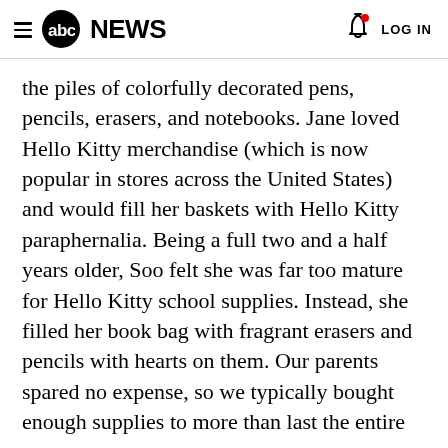abc NEWS  LOG IN
the piles of colorfully decorated pens, pencils, erasers, and notebooks. Jane loved Hello Kitty merchandise (which is now popular in stores across the United States) and would fill her baskets with Hello Kitty paraphernalia. Being a full two and a half years older, Soo felt she was far too mature for Hello Kitty school supplies. Instead, she filled her book bag with fragrant erasers and pencils with hearts on them. Our parents spared no expense, so we typically bought enough supplies to more than last the entire year.
After the shopping spree, we were always eager